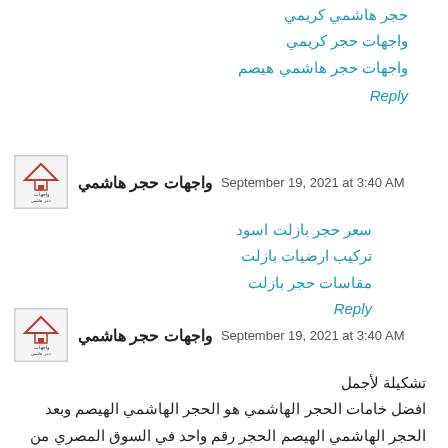حجر هاشمي كريمي
واجهات حجر كريمي
واجهات حجر هاشمي هيصم
Reply
واجهات حجر هاشمي  September 19, 2021 at 3:40 AM
سعر حجر بازلت اسود
تركيب ارضيات بازلت
مقاسات حجر بازلت
Reply
واجهات حجر هاشمي  September 19, 2021 at 3:40 AM
تشكيلة لأجمل
افضل خامات الحجر الهاشمي هو الحجر الهاشمي الهيصم وبعد الحجر الهاشمي الهيصم الحجر رقم واحد في السوق المصري من حيث الجوده والمتانه وقوة تحمله للعوامل الجوية المختلفة